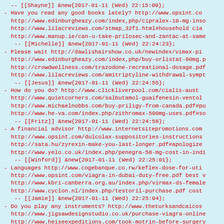-- [[Shayne]] &new{2017-01-11 (Wed) 22:15:09};
- Have you read any good books lately? http://www.opsint.co
    http://www.edinburgheazy.com/index,php/cipralex-10-mg-inso
    http://www.lilacreviews.com/stmap_32f1.html#household cia
    http://www.manup.ie/can-u-take-prilosec-and-zantac-at-same
    -- [[Michelle]] &new{2017-01-11 (Wed) 22:24:23};
- Please wait http://dawlishairshow.co.uk/newindex/vimax-p
    http://www.edinburgheazy.com/index,php/buy-orlistat-60mg.p
    http://crowdwellness.com/trazodone-recreational-dosage.pdf
    http://www.lilacreviews.com/amitriptyline-withdrawal-sympt
    -- [[Jesus]] &new{2017-01-11 (Wed) 22:24:55};
- How do you do? http://www.clickliverpool.com/cialis-aust
    http://www.quietcorners.com/salbutamol-guaifenesin-ventol
    http://www.michaelnobbs.com/buy-priligy-from-canada.pdf#pu
    http://www.he-va.com/index.php/zithromax-500mg-uses.pdf#so
    -- [[Fritz]] &new{2017-01-11 (Wed) 22:24:58};
- A financial advisor http://www.internetsitepromotions.com
    http://www.opsint.com/dulcolax-suppositories-instructions
    http://sata.hu/zyrexin-make-you-last-longer.pdf#apologize
    http://www.yelo.co.uk/index.php/penegra-50-mg-cost-in-ind
    -- [[Winford]] &new{2017-01-11 (Wed) 22:25:01};
- Languages http://www.cogebanque.co.rw/keflex-dose-for-ut
    http://www.opsint.com/viagra-in-dubai-duty-free.pdf best v
    http://www.kbri-canberra.org.au/index.php/virmax-ds-female
    http://www.cyclon.nl/index.php/testoril-purchase.pdf cost
    -- [[Jamie]] &new{2017-01-11 (Wed) 22:25:04};
- Do you play any instruments? http://www.theturksandcaicos
    http://www.jigsawdesignstudio.co.uk/purchase-viagra-online
    http://www.heiseexpeditions.com/took-motrin-before-surgery
    http://...driverproducts.com/is-equate-ibuprofen-the-same...